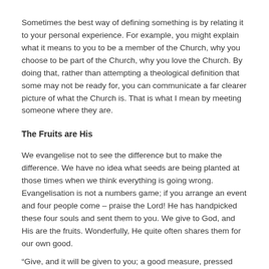Sometimes the best way of defining something is by relating it to your personal experience. For example, you might explain what it means to you to be a member of the Church, why you choose to be part of the Church, why you love the Church. By doing that, rather than attempting a theological definition that some may not be ready for, you can communicate a far clearer picture of what the Church is. That is what I mean by meeting someone where they are.
The Fruits are His
We evangelise not to see the difference but to make the difference. We have no idea what seeds are being planted at those times when we think everything is going wrong. Evangelisation is not a numbers game; if you arrange an event and four people come – praise the Lord! He has handpicked these four souls and sent them to you. We give to God, and His are the fruits. Wonderfully, He quite often shares them for our own good.
“Give, and it will be given to you; a good measure, pressed down, shaken together, running over, will be put into your lap.” – Lk 6:38